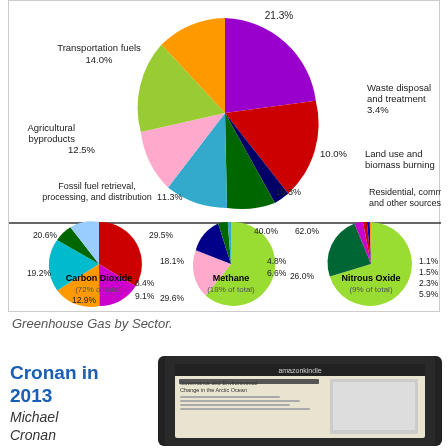[Figure (pie-chart): Large pie chart on top showing greenhouse gas sources by sector with percentages: 21.3%, 14.0%, 12.5%, 11.3%, 10.3%, 10.0%, 3.4%. Three smaller pie charts below for Carbon Dioxide (72% of total), Methane (18% of total), and Nitrous Oxide (9% of total).]
Greenhouse Gas by Sector.
Cronan in 2013
Michael Cronan
[Figure (photo): Image of a Kindle e-reader displaying an article titled 'Governance and Environmental Change in the Arctic Ocean']